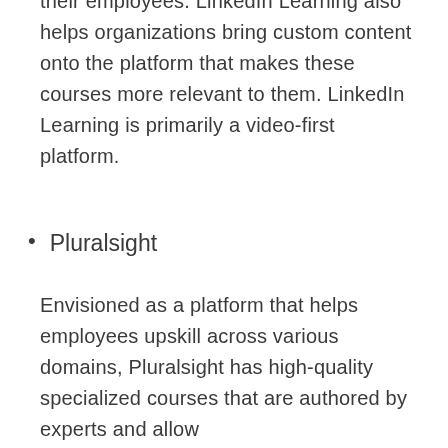their employees. LinkedIn Learning also helps organizations bring custom content onto the platform that makes these courses more relevant to them. LinkedIn Learning is primarily a video-first platform.
Pluralsight
Envisioned as a platform that helps employees upskill across various domains, Pluralsight has high-quality specialized courses that are authored by experts and allow